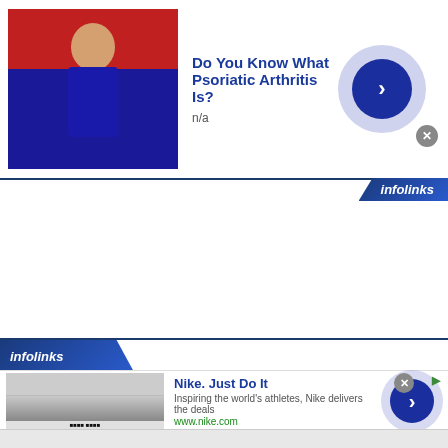[Figure (screenshot): Top advertisement banner: thumbnail image of figure in blue and red costume, ad title 'Do You Know What Psoriatic Arthritis Is?', subtitle 'n/a', blue arrow button, close X button, infolinks badge]
Do You Know What Psoriatic Arthritis Is?
n/a
[Figure (screenshot): Bottom advertisement banner with infolinks branding bar, Nike ad with thumbnail, title 'Nike. Just Do It', subtitle 'Inspiring the world's athletes, Nike delivers the deals', URL 'www.nike.com', blue arrow button]
Nike. Just Do It
Inspiring the world's athletes, Nike delivers the deals
www.nike.com